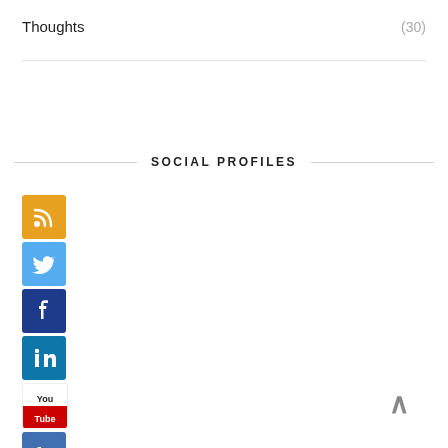Thoughts (30)
SOCIAL PROFILES
[Figure (infographic): Social media profile icons stacked vertically: RSS (orange), Twitter (light blue), Facebook (dark blue), LinkedIn (blue), YouTube (red/white), Friendfeed (blue), StumbleUpon (green), and one more dark blue icon at the bottom]
^